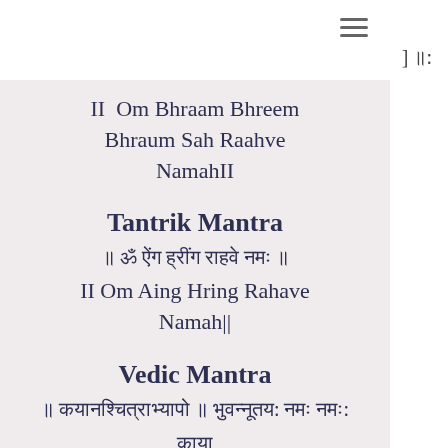☰
] ॥:
II  Om Bhraam Bhreem Bhraum Sah Raahve NamahII
Tantrik Mantra
॥ ॐ ऐंग ह्रींग राहवे नमः ॥
II Om Aing Hring Rahave Namah||
Vedic Mantra
॥ कयानश्चित्र॥ आ भुवन्नूतय: अर्वन्त: ॥काय
नश्चित्राभ्यापो
||Om KyaanshChitra